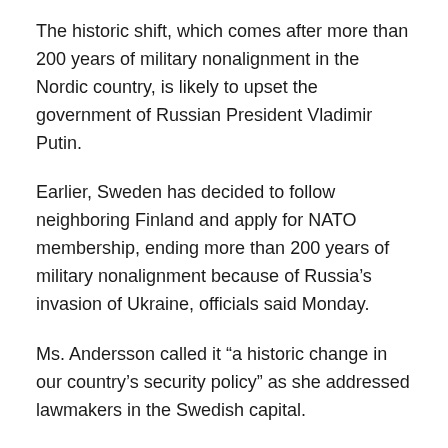The historic shift, which comes after more than 200 years of military nonalignment in the Nordic country, is likely to upset the government of Russian President Vladimir Putin.
Earlier, Sweden has decided to follow neighboring Finland and apply for NATO membership, ending more than 200 years of military nonalignment because of Russia's invasion of Ukraine, officials said Monday.
Ms. Andersson called it “a historic change in our country’s security policy” as she addressed lawmakers in the Swedish capital.
“Sweden needs formal security guarantees that come with membership in NATO,” Ms. Andersson said, adding that the country was acting together with Finland, whose government